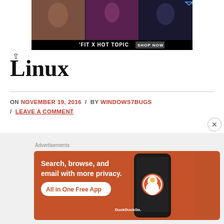[Figure (photo): Advertisement banner showing three photos of people with text 'FIT X HOT TOPIC' and a 'SHOP NOW' button on black background]
Linux
ON NOVEMBER 19, 2016 / BY WINDOWS7BUGS / LEAVE A COMMENT
[Figure (photo): DuckDuckGo advertisement with orange background: 'Search, browse, and email with more privacy. All in One Free App' with phone image and DuckDuckGo logo]